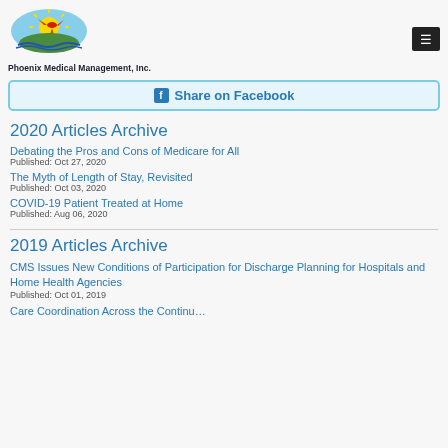Phoenix Medical Management, Inc.
[Figure (logo): Phoenix Medical Management Inc. logo with bird and sun graphic]
Share on Facebook
2020 Articles Archive
Debating the Pros and Cons of Medicare for All
Published: Oct 27, 2020
The Myth of Length of Stay, Revisited
Published: Oct 03, 2020
COVID-19 Patient Treated at Home
Published: Aug 06, 2020
2019 Articles Archive
CMS Issues New Conditions of Participation for Discharge Planning for Hospitals and Home Health Agencies
Published: Oct 01, 2019